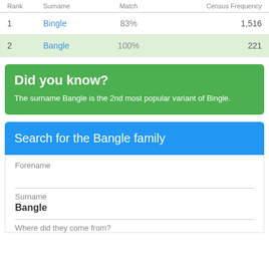| Rank | Surname | Match | Census Frequency |
| --- | --- | --- | --- |
| 1 | Bingle | 83% | 1,516 |
| 2 | Bangle | 100% | 221 |
Did you know?
The surname Bangle is the 2nd most popular variant of Bingle.
Search for the Bangle family
Forename
Surname
Bangle